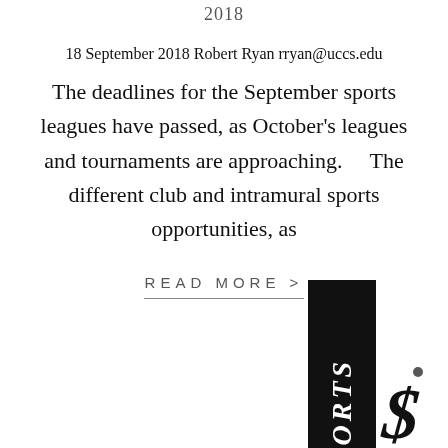2018
18 September 2018 Robert Ryan rryan@uccs.edu
The deadlines for the September sports leagues have passed, as October's leagues and tournaments are approaching.    The different club and intramural sports opportunities, as
READ MORE >
[Figure (logo): Black vertical box with white bold italic text 'SPORTS' rotated vertically, with a decorative cursive dollar-sign style logo to the right]